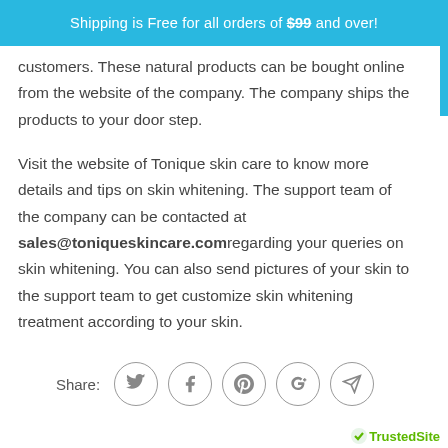Shipping is Free for all orders of $99 and over!
customers. These natural products can be bought online from the website of the company. The company ships the products to your door step.

Visit the website of Tonique skin care to know more details and tips on skin whitening. The support team of the company can be contacted at sales@toniqueskincare.com regarding your queries on skin whitening. You can also send pictures of your skin to the support team to get customize skin whitening treatment according to your skin.
[Figure (other): Social share bar with Share label and five circular icon buttons: Twitter, Facebook, Pinterest, Google+, and a send/paper-plane icon]
[Figure (logo): TrustedSite logo partial, bottom right corner]